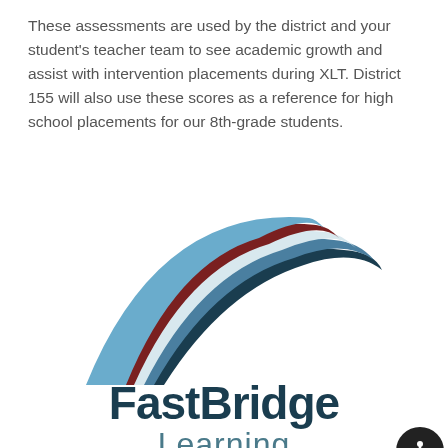These assessments are used by the district and your student's teacher team to see academic growth and assist with intervention placements during XLT. District 155 will also use these scores as a reference for high school placements for our 8th-grade students.
[Figure (logo): FastBridge Learning logo — an arching bridge graphic in dark teal, mid blue, white, and dark red/maroon swooping arc shapes, above the bold text 'FastBridge' in dark navy and 'Learning' in muted teal below.]